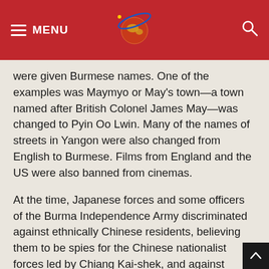MENU [logo] [search]
were given Burmese names. One of the examples was Maymyo or May’s town—a town named after British Colonel James May—was changed to Pyin Oo Lwin. Many of the names of streets in Yangon were also changed from English to Burmese. Films from England and the US were also banned from cinemas.
At the time, Japanese forces and some officers of the Burma Independence Army discriminated against ethnically Chinese residents, believing them to be spies for the Chinese nationalist forces led by Chiang Kai-shek, and against people of mixed parentage, believing them to be spies for the British.
Until the early 1940s, there was a white marble statue of Queen Victoria in Maha Bandula Park, known as Fytche